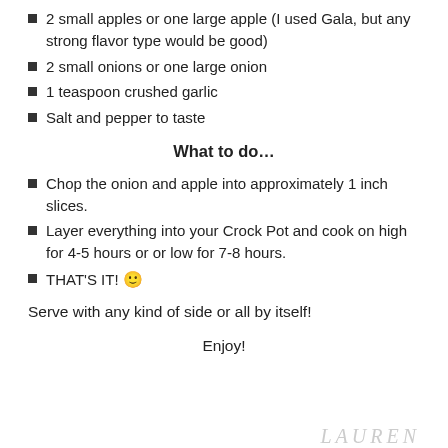2 small apples or one large apple (I used Gala, but any strong flavor type would be good)
2 small onions or one large onion
1 teaspoon crushed garlic
Salt and pepper to taste
What to do…
Chop the onion and apple into approximately 1 inch slices.
Layer everything into your Crock Pot and cook on high for 4-5 hours or or low for 7-8 hours.
THAT'S IT! 🙂
Serve with any kind of side or all by itself!
Enjoy!
LAUREN